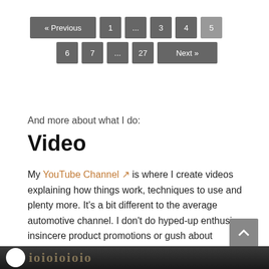[Figure (other): Pagination navigation: row 1: « Previous, 1, ..., 3, 4, 5 (active/lighter); row 2: 6, 7, ..., 27, Next »]
And more about what I do:
Video
My YouTube Channel is where I create videos explaining how things work, techniques to use and plenty more. It's a bit different to the average automotive channel. I don't do hyped-up enthusiasm, insincere product promotions or gush about awesomeness. I also interview people with interesting things to say for my webinar series.
[Figure (photo): Bottom strip with a circular logo and dark background showing partial text/logo graphics]